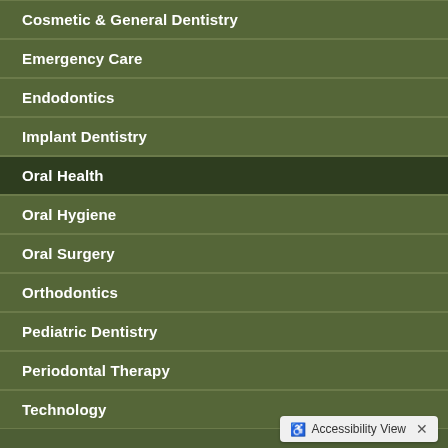Cosmetic & General Dentistry
Emergency Care
Endodontics
Implant Dentistry
Oral Health
Oral Hygiene
Oral Surgery
Orthodontics
Pediatric Dentistry
Periodontal Therapy
Technology